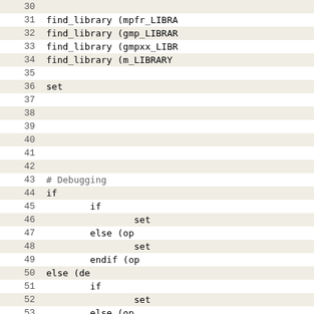Code listing lines 30-61, CMake build script with find_library, set, if/else/endif blocks for debugging and logging.